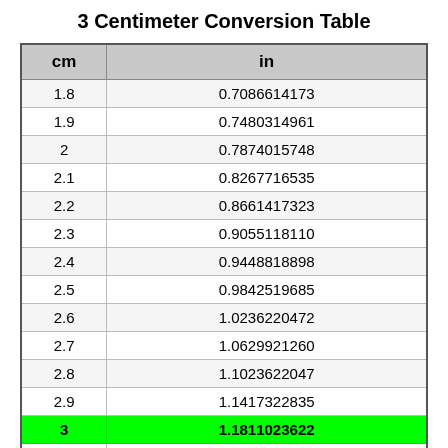3 Centimeter Conversion Table
| cm | in |
| --- | --- |
| 1.8 | 0.7086614173 |
| 1.9 | 0.7480314961 |
| 2 | 0.7874015748 |
| 2.1 | 0.8267716535 |
| 2.2 | 0.8661417323 |
| 2.3 | 0.9055118110 |
| 2.4 | 0.9448818898 |
| 2.5 | 0.9842519685 |
| 2.6 | 1.0236220472 |
| 2.7 | 1.0629921260 |
| 2.8 | 1.1023622047 |
| 2.9 | 1.1417322835 |
| 3 | 1.1811023622 |
| 3.1 | 1.2204724409 |